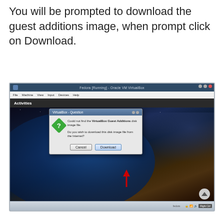You will be prompted to download the guest additions image, when prompt click on Download.
[Figure (screenshot): Screenshot of Oracle VM VirtualBox running Fedora, showing a dialog box titled 'VirtualBox - Question' asking 'Could not find the VirtualBox Guest Additions disk image file. Do you wish to download this disk image file from the Internet?' with Cancel and Download buttons, and a red arrow pointing to the Download button.]